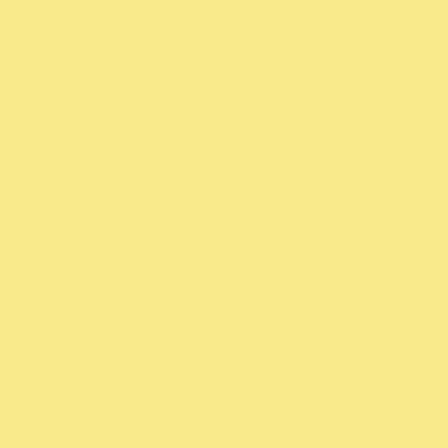Posted by: Christer | Tuesday, 23 October 2012 at 03:3…
Any comment about the 30mm versi…
Posted by: Bill Mitchell | Tuesday, 23 October 2012 at…
Bill,
I actually owned that one for a while…purple fringing on my then-current K…it wasn't as bad on other cameras.)
Mike
Posted by: Mike Johnston | Tuesday, 23 October 2012…
I can confirm this having tried sever…MkII.
I kept a Zeiss 50mm f/1.4 for some y…sharpness and micro-contrast, but th…pixel-peeping I just didn't like the l…